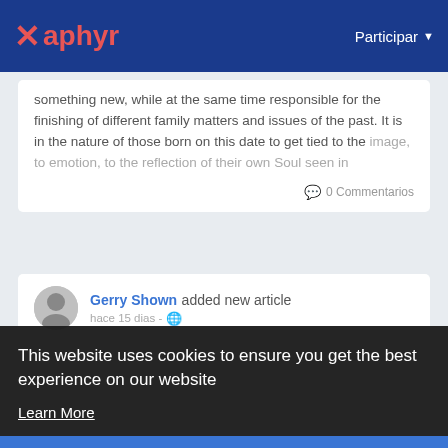Xaphyr — Participar
something new, while at the same time responsible for the finishing of different family matters and issues of the past. It is in the nature of those born on this date to get tied to the image, to emotion, to the reflection of their own Soul seen in
0 Commentarios
Gerry Shown added new article
hace 15 dias -
[Figure (screenshot): Dark background article image with number 555 and italic text about angel number 555 being a powerful message from the divine to let go of any fear or doubt that are holding you.]
This website uses cookies to ensure you get the best experience on our website
Learn More
Got It!